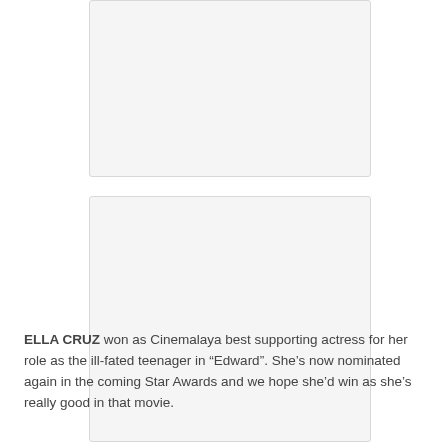[Figure (photo): Empty white/light gray image placeholder box 1, with rounded border]
[Figure (photo): Empty white/light gray image placeholder box 2, with rounded border]
ELLA CRUZ won as Cinemalaya best supporting actress for her role as the ill-fated teenager in “Edward”. She’s now nominated again in the coming Star Awards and we hope she’d win as she’s really good in that movie.